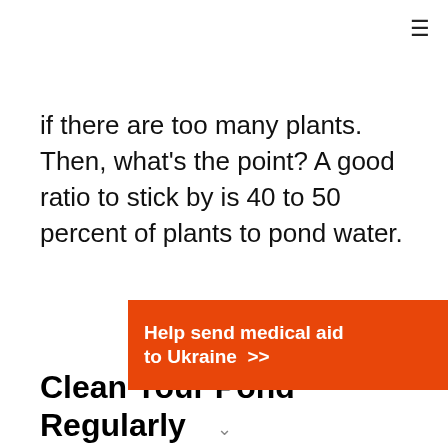if there are too many plants. Then, what's the point? A good ratio to stick by is 40 to 50 percent of plants to pond water.
Clean Your Pond Regularly
Committing to cleaning your pond daily is great, but if you can do more, then that is always better. Each time you go
[Figure (infographic): Orange advertisement banner reading 'Help send medical aid to Ukraine >>' with Direct Relief logo on the right.]